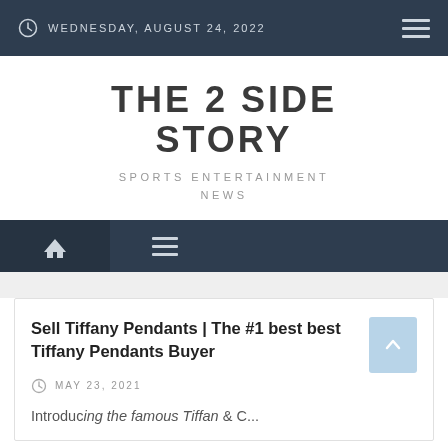WEDNESDAY, AUGUST 24, 2022
THE 2 SIDE STORY
SPORTS ENTERTAINMENT NEWS
Sell Tiffany Pendants | The #1 best best Tiffany Pendants Buyer
MAY 23, 2021